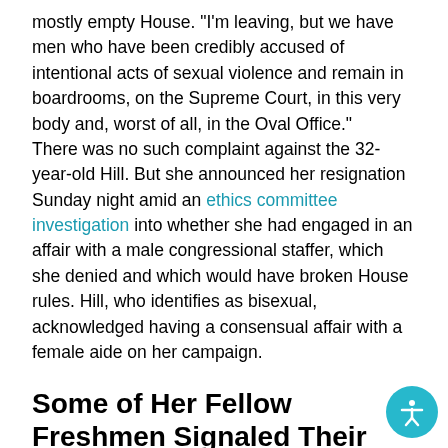mostly empty House. "I'm leaving, but we have men who have been credibly accused of intentional acts of sexual violence and remain in boardrooms, on the Supreme Court, in this very body and, worst of all, in the Oval Office."
There was no such complaint against the 32-year-old Hill. But she announced her resignation Sunday night amid an ethics committee investigation into whether she had engaged in an affair with a male congressional staffer, which she denied and which would have broken House rules. Hill, who identifies as bisexual, acknowledged having a consensual affair with a female aide on her campaign.
Some of Her Fellow Freshmen Signaled Their Support by Sitting in the Front Row